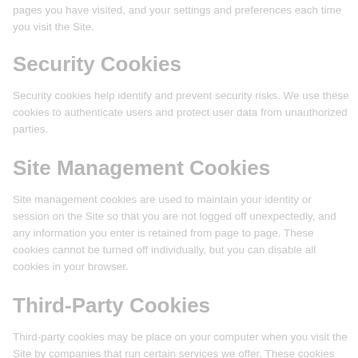to the Site. We use these cookies to record your browsing history, the pages you have visited, and your settings and preferences each time you visit the Site.
Security Cookies
Security cookies help identify and prevent security risks. We use these cookies to authenticate users and protect user data from unauthorized parties.
Site Management Cookies
Site management cookies are used to maintain your identity or session on the Site so that you are not logged off unexpectedly, and any information you enter is retained from page to page. These cookies cannot be turned off individually, but you can disable all cookies in your browser.
Third-Party Cookies
Third-party cookies may be place on your computer when you visit the Site by companies that run certain services we offer. These cookies allow the third parties to gather and